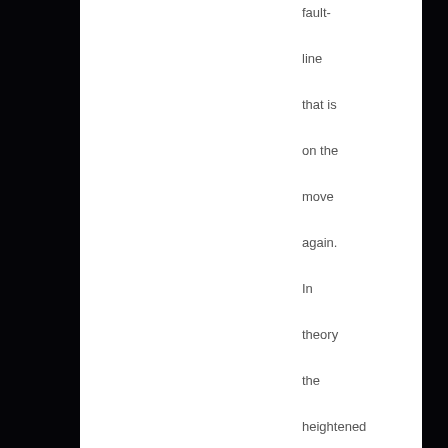[Figure (photo): Dark star field / night sky background with a white document page overlaid on the right portion]
fault-line that is on the move again. In theory the heightened pressure during fracking could have pushed liquids into that unknown fault-line and